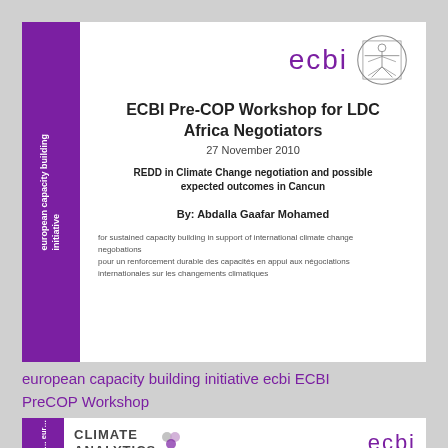[Figure (other): ECBI document cover: purple sidebar with 'european capacity building initiative' text rotated, ecbi logo with Vitruvian man illustration, title 'ECBI Pre-COP Workshop for LDC Africa Negotiators', date '27 November 2010', subtitle 'REDD in Climate Change negotiation and possible expected outcomes in Cancun', author 'By: Abdalla Gaafar Mohamed', footer text in English and French about capacity building]
european capacity building initiative ecbi ECBI PreCOP Workshop
[Figure (other): Partial view of second document: purple sidebar, Climate Analytics logo with dots, ecbi wordmark with Vitruvian man]